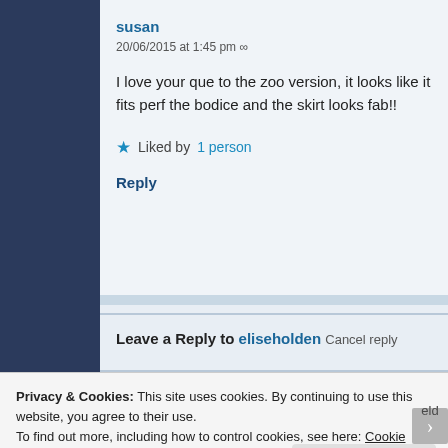susan
20/06/2015 at 1:45 pm ∞
I love your que to the zoo version, it looks like it fits perf the bodice and the skirt looks fab!!
Liked by 1 person
Reply
Leave a Reply to eliseholden Cancel reply
Privacy & Cookies: This site uses cookies. By continuing to use this website, you agree to their use.
To find out more, including how to control cookies, see here: Cookie Policy
Close and accept